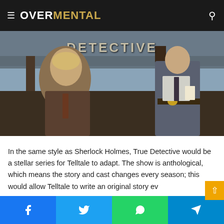OVERMENTAL
[Figure (photo): True Detective TV show promotional image showing two men under a shelter with 'DETECTIVE' text sign visible]
In the same style as Sherlock Holmes, True Detective would be a stellar series for Telltale to adapt. The show is anthological, which means the story and cast changes every season; this would allow Telltale to write an original story ev...